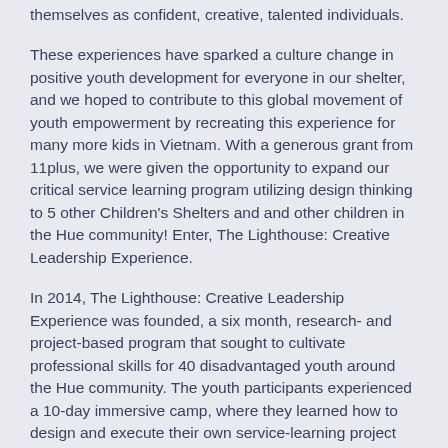themselves as confident, creative, talented individuals.
These experiences have sparked a culture change in positive youth development for everyone in our shelter, and we hoped to contribute to this global movement of youth empowerment by recreating this experience for many more kids in Vietnam. With a generous grant from 11plus, we were given the opportunity to expand our critical service learning program utilizing design thinking to 5 other Children's Shelters and and other children in the Hue community! Enter, The Lighthouse: Creative Leadership Experience.
In 2014, The Lighthouse: Creative Leadership Experience was founded, a six month, research- and project-based program that sought to cultivate professional skills for 40 disadvantaged youth around the Hue community. The youth participants experienced a 10-day immersive camp, where they learned how to design and execute their own service-learning project for their communities using the concepts of design thinking and critical service learning. Each subsequent monthly workshop or in-service training focused on teaching the cohort a different professional skill that they could apply to their